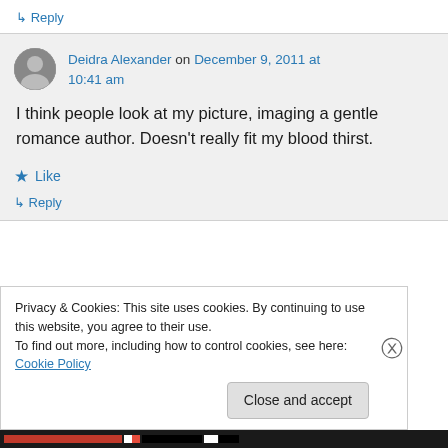↳ Reply
Deidra Alexander on December 9, 2011 at 10:41 am
I think people look at my picture, imaging a gentle romance author. Doesn't really fit my blood thirst.
★ Like
↳ Reply
Privacy & Cookies: This site uses cookies. By continuing to use this website, you agree to their use.
To find out more, including how to control cookies, see here: Cookie Policy
Close and accept